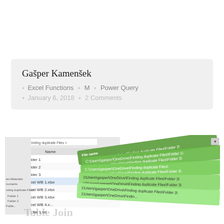Gašper Kamenšek
• Excel Functions • M • Power Query
• January 6, 2018 • 2 Comments
[Figure (screenshot): Screenshot of Windows Explorer showing folders (Folder 1, Folder 2, Folder 3) and Excel workbook files, overlaid with green-striped cards showing file paths: C:\Users\gasper\OneDrive\Finding duplicate Files\Folder 2\, ...\Folder 1\, ...\Folder 3\, ...\Finding duplicate Files\, ...\Folder 3\, ...\Folder 3\. TableJoin watermark partially visible at bottom left.]